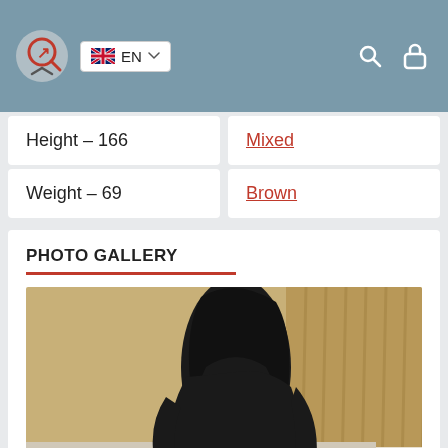EN
Height – 166
Mixed
Weight – 69
Brown
PHOTO GALLERY
[Figure (photo): A person wearing a black outfit posing on a bed in a hotel room setting]